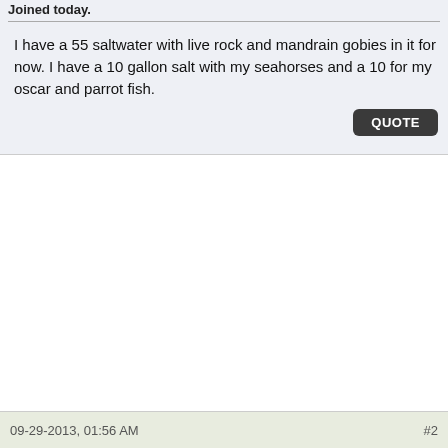Joined today.
I have a 55 saltwater with live rock and mandrain gobies in it for now. I have a 10 gallon salt with my seahorses and a 10 for my oscar and parrot fish.
09-29-2013, 01:56 AM  #2